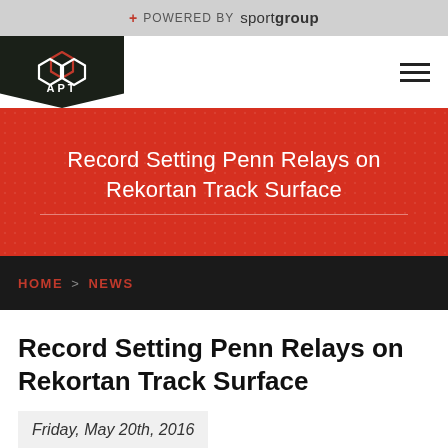+ POWERED BY sportgroup
[Figure (logo): APT hexagonal logo on dark background with red honeycomb hexagons]
Record Setting Penn Relays on Rekortan Track Surface
HOME > NEWS
Record Setting Penn Relays on Rekortan Track Surface
Friday, May 20th, 2016